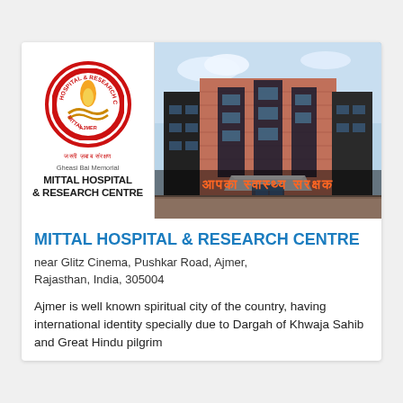[Figure (photo): Mittal Hospital & Research Centre banner: left panel shows the hospital logo (circular red-bordered logo with flame and hands motif, Hindi text, 'Gheasi Bai Memorial', 'MITTAL HOSPITAL & RESEARCH CENTRE'), right panel shows a photo of the hospital building (multi-storey red brick building with dark glass panels), overlaid Hindi text 'आपका स्वास्थ्य सरक्षक' in orange/red on a semi-transparent strip]
MITTAL HOSPITAL & RESEARCH CENTRE
near Glitz Cinema, Pushkar Road, Ajmer, Rajasthan, India, 305004
Ajmer is well known spiritual city of the country, having international identity specially due to Dargah of Khwaja Sahib and Great Hindu pilgrim